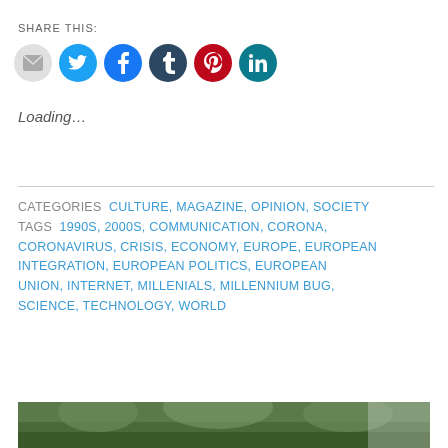SHARE THIS:
[Figure (infographic): Row of social sharing icon circles: email (grey), Twitter (light blue), Facebook (blue), Tumblr (dark navy), Pinterest (red), LinkedIn (teal)]
Loading…
CATEGORIES  CULTURE, MAGAZINE, OPINION, SOCIETY  TAGS  1990S, 2000S, COMMUNICATION, CORONA, CORONAVIRUS, CRISIS, ECONOMY, EUROPE, EUROPEAN INTEGRATION, EUROPEAN POLITICS, EUROPEAN UNION, INTERNET, MILLENIALS, MILLENNIUM BUG, SCIENCE, TECHNOLOGY, WORLD
[Figure (photo): Partial view of a green outdoor/nature scene at the bottom of the page]